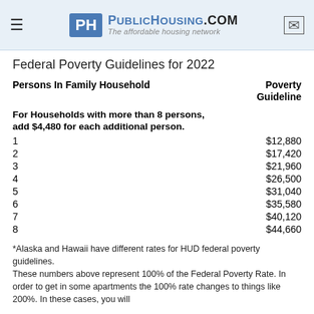PublicHousing.com — The affordable housing network
Federal Poverty Guidelines for 2022
| Persons In Family Household | Poverty Guideline |
| --- | --- |
| For Households with more than 8 persons, add $4,480 for each additional person. |  |
| 1 | $12,880 |
| 2 | $17,420 |
| 3 | $21,960 |
| 4 | $26,500 |
| 5 | $31,040 |
| 6 | $35,580 |
| 7 | $40,120 |
| 8 | $44,660 |
*Alaska and Hawaii have different rates for HUD federal poverty guidelines.
These numbers above represent 100% of the Federal Poverty Rate. In order to get in some apartments the 100% rate changes to things like 200%. In these cases, you will